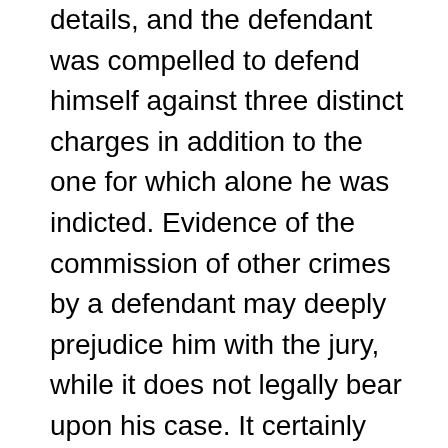details, and the defendant was compelled to defend himself against three distinct charges in addition to the one for which alone he was indicted. Evidence of the commission of other crimes by a defendant may deeply prejudice him with the jury, while it does not legally bear upon his case. It certainly would not be competent, in order to show the intent with which one entered a house or took an article of personal property, that he had committed a burglary or larceny at another time. Regina v. Oddy, 5 Cox C. C. 210. Barton v. State, 18 Ohio 221. Where one was on trial for breaking and entering the City Hall of Charlestown, it was held that it was not competent for the government to prove that among the burglarious tools and implements found upon him there was the ward of a key made and fitted for entering the building of the Lancaster Bank, upon the ground that this evidence had relation to a distinct